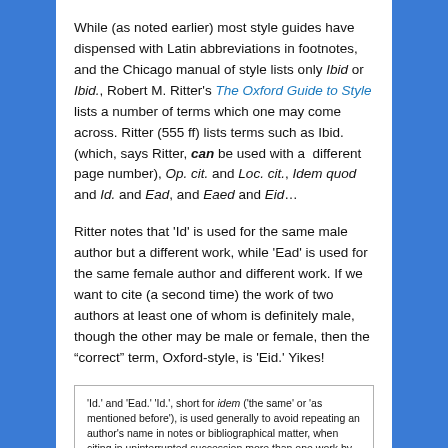While (as noted earlier) most style guides have dispensed with Latin abbreviations in footnotes, and the Chicago manual of style lists only Ibid or Ibid., Robert M. Ritter's The Oxford Guide to Style lists a number of terms which one may come across. Ritter (555 ff) lists terms such as Ibid. (which, says Ritter, can be used with a different page number), Op. cit. and Loc. cit., Idem quod and Id. and Ead, and Eaed and Eid…
Ritter notes that 'Id' is used for the same male author but a different work, while 'Ead' is used for the same female author and different work. If we want to cite (a second time) the work of two authors at least one of whom is definitely male, though the other may be male or female, then the "correct" term, Oxford-style, is 'Eid.' Yikes!
'Id.' and 'Ead.' 'Id.', short for idem ('the same' or 'as mentioned before'), is used generally to avoid repeating an author's name in notes or bibliographical matter, when citing in uninterrupted succession more than one work by the same man. It cannot be used to refer to a female author, who is 'ead.' (for eadem). Two or more female authors are referred to as 'eaed.' (for eaedem), and two or more authors of whom at least one is male are referred to as 'eid.' (for eidem).